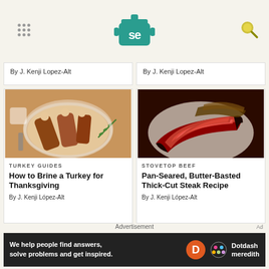Serious Eats logo and navigation
By J. Kenji Lopez-Alt
By J. Kenji Lopez-Alt
[Figure (photo): Overhead photo of a carved turkey on a white plate with rosemary garnish]
TURKEY GUIDES
How to Brine a Turkey for Thanksgiving
By J. Kenji López-Alt
[Figure (photo): Close-up photo of sliced pan-seared thick-cut steak showing pink interior on a white plate]
STOVETOP BEEF
Pan-Seared, Butter-Basted Thick-Cut Steak Recipe
By J. Kenji López-Alt
Advertisement
[Figure (infographic): Dotdash Meredith advertisement banner: We help people find answers, solve problems and get inspired.]